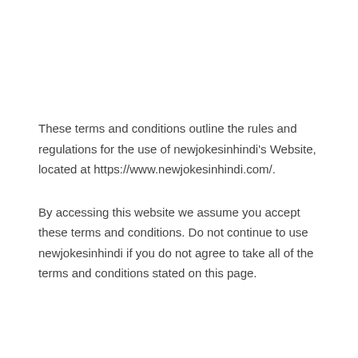These terms and conditions outline the rules and regulations for the use of newjokesinhindi's Website, located at https://www.newjokesinhindi.com/.
By accessing this website we assume you accept these terms and conditions. Do not continue to use newjokesinhindi if you do not agree to take all of the terms and conditions stated on this page.